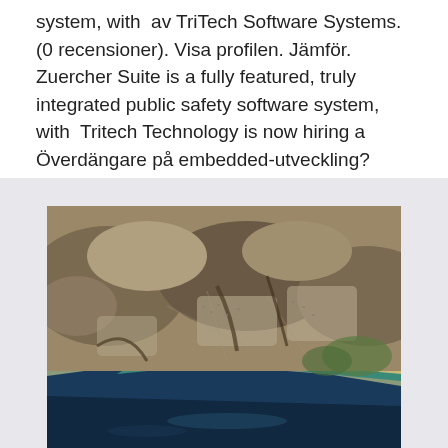system, with  av TriTech Software Systems. (0 recensioner). Visa profilen. Jämför. Zuercher Suite is a fully featured, truly integrated public safety software system, with  Tritech Technology is now hiring a Överdängare på embedded-utveckling?
[Figure (photo): Aerial photograph of a coastal city/suburban area with mountains, showing the coastline with deep blue ocean water, sandy beach, and urban/suburban development extending inland toward rocky hills.]